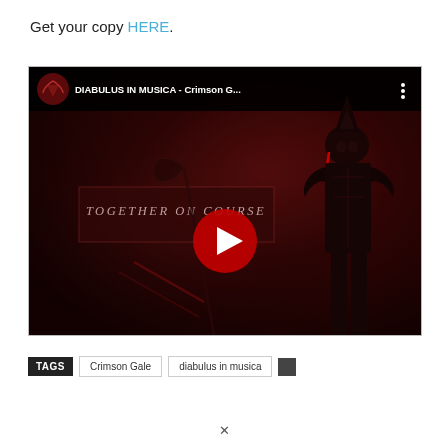Get your copy HERE.
[Figure (screenshot): YouTube video embed showing 'DIABULUS IN MUSICA - Crimson G...' with a dark red background featuring a warrior/devil figure and text 'TOGETHER ON COURSE'. A red play button is centered on the video thumbnail.]
TAGS  Crimson Gale  diabulus in musica